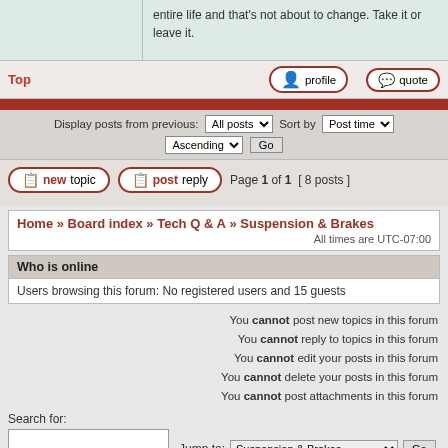entire life and that's not about to change. Take it or leave it.
Top
[Figure (screenshot): profile and quote buttons]
Display posts from previous: All posts Sort by Post time Ascending Go
[Figure (screenshot): new topic and post reply buttons, Page 1 of 1 [8 posts]]
Home » Board index » Tech Q & A » Suspension & Brakes
All times are UTC-07:00
Who is online
Users browsing this forum: No registered users and 15 guests
You cannot post new topics in this forum
You cannot reply to topics in this forum
You cannot edit your posts in this forum
You cannot delete your posts in this forum
You cannot post attachments in this forum
Search for:
Jump to: Suspension & Brakes Go
Go
Powered by phpBB® Forum Software © phpBB Limited